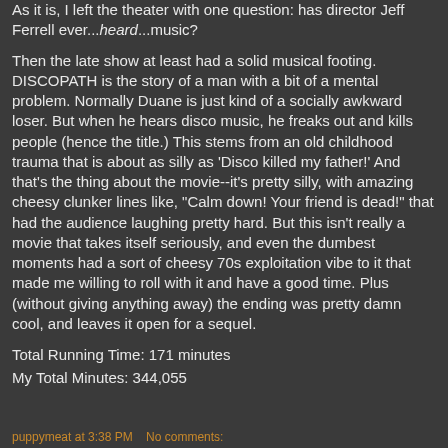As it is, I left the theater with one question: has director Jeff Ferrell ever...heard...music?
Then the late show at least had a solid musical footing. DISCOPATH is the story of a man with a bit of a mental problem. Normally Duane is just kind of a socially awkward loser. But when he hears disco music, he freaks out and kills people (hence the title.) This stems from an old childhood trauma that is about as silly as 'Disco killed my father!' And that's the thing about the movie--it's pretty silly, with amazing cheesy clunker lines like, "Calm down! Your friend is dead!" that had the audience laughing pretty hard. But this isn't really a movie that takes itself seriously, and even the dumbest moments had a sort of cheesy 70s exploitation vibe to it that made me willing to roll with it and have a good time. Plus (without giving anything away) the ending was pretty damn cool, and leaves it open for a sequel.
Total Running Time: 171 minutes
My Total Minutes: 344,055
puppymeat at 3:38 PM   No comments: